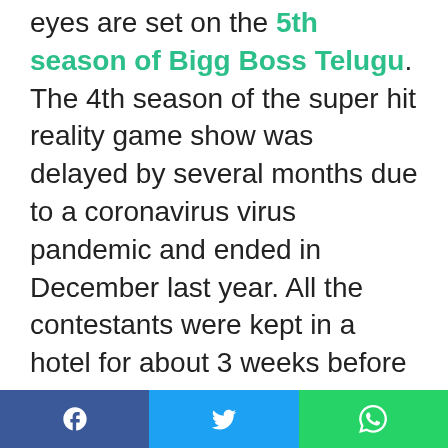eyes are set on the 5th season of Bigg Boss Telugu. The 4th season of the super hit reality game show was delayed by several months due to a coronavirus virus pandemic and ended in December last year. All the contestants were kept in a hotel for about 3 weeks before going on the show.

Now it seems that the start of the 5th season may be delayed again. Bigg Boss organizers initially planned to air the show from the end of June or the first week of July. Several potential contestants have already been interviewed for the upcoming season.